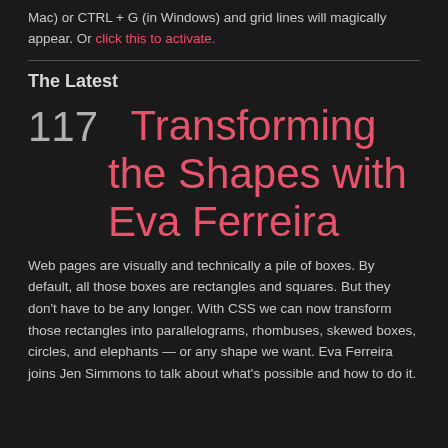Mac) or CTRL + G (in Windows) and grid lines will magically appear. Or click this to activate.
The Latest
117  Transforming the Shapes with Eva Ferreira
Web pages are visually and technically a pile of boxes. By default, all those boxes are rectangles and squares. But they don't have to be any longer. With CSS we can now transform those rectangles into parallelograms, rhombuses, skewed boxes, circles, and elephants — or any shape we want. Eva Ferreira joins Jen Simmons to talk about what's possible and how to do it.